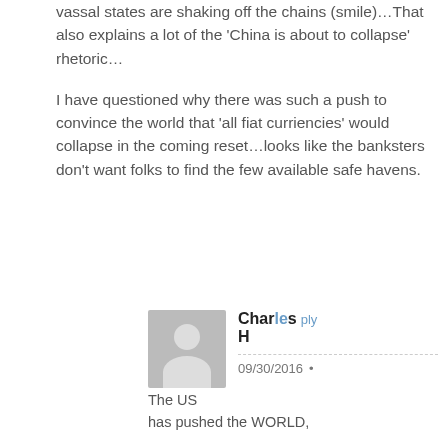vassal states are shaking off the chains (smile)…That also explains a lot of the 'China is about to collapse' rhetoric…

I have questioned why there was such a push to convince the world that 'all fiat curriencies' would collapse in the coming reset…looks like the banksters don't want folks to find the few available safe havens.
Charles H
09/30/2016
The US has pushed the WORLD,